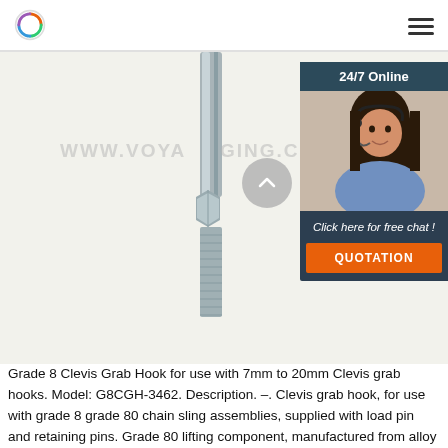Logo and navigation menu
[Figure (photo): A galvanized steel bolt/stud with a hex nut in the middle and threaded ends, photographed on white background. Watermark text WWW.VOYARIGGING.COM visible. Overlaid with a 24/7 online chat widget featuring a customer service representative photo and QUOTATION button.]
Grade 8 Clevis Grab Hook for use with 7mm to 20mm Clevis grab hooks. Model: G8CGH-3462. Description. –. Clevis grab hook, for use with grade 8 grade 80 chain sling assemblies, supplied with load pin and retaining pins. Grade 80 lifting component, manufactured from alloy steel in accordance with EN1677-1+2. All forged components are individually magnaflux crack detected after heat treatment ...